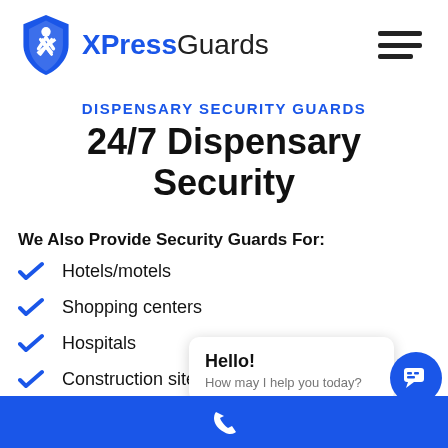[Figure (logo): XPressGuards logo — blue shield with stylized X figure and 'XPressGuards' text (XPress in blue bold, Guards in black)]
DISPENSARY SECURITY GUARDS
24/7 Dispensary Security
We Also Provide Security Guards For:
Hotels/motels
Shopping centers
Hospitals
Construction site…
Hello! How may I help you today?